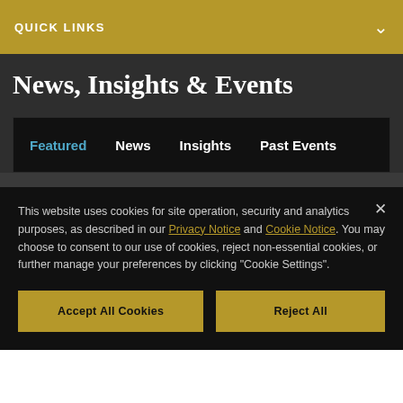QUICK LINKS
News, Insights & Events
Featured   News   Insights   Past Events
This website uses cookies for site operation, security and analytics purposes, as described in our Privacy Notice and Cookie Notice. You may choose to consent to our use of cookies, reject non-essential cookies, or further manage your preferences by clicking "Cookie Settings".